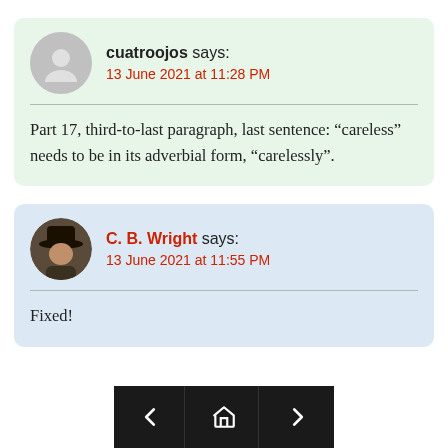cuatroojos says: 13 June 2021 at 11:28 PM
Part 17, third-to-last paragraph, last sentence: “careless” needs to be in its adverbial form, “carelessly”.
C. B. Wright says: 13 June 2021 at 11:55 PM
Fixed!